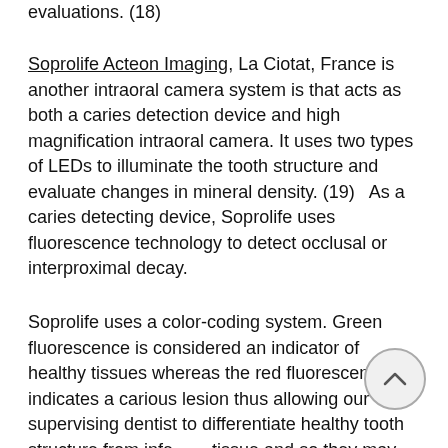evaluations. (18)
Soprolife Acteon Imaging, La Ciotat, France is another intraoral camera system is that acts as both a caries detection device and high magnification intraoral camera. It uses two types of LEDs to illuminate the tooth structure and evaluate changes in mineral density. (19)   As a caries detecting device, Soprolife uses fluorescence technology to detect occlusal or interproximal decay.
Soprolife uses a color-coding system. Green fluorescence is considered an indicator of healthy tissues whereas the red fluorescence indicates a carious lesion thus allowing our supervising dentist to differentiate healthy tooth structure from infected tissue and so they may treatment plan accordingly.